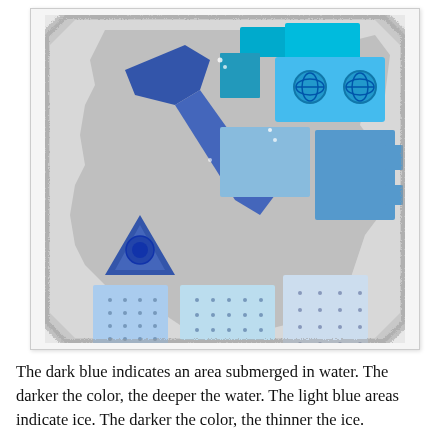[Figure (map): A dungeon/building floor plan map with various rooms and corridors rendered in shades of blue. Dark blue areas indicate regions submerged in deep water. Lighter blue areas indicate ice or shallow water. The map has an irregular rocky/jagged perimeter suggesting cave or dungeon walls. Features include diagonal corridors, rectangular rooms, circular elements (columns or pillars with cross/globe symbols), and a small exit or passage at the bottom center. The layout is complex with interconnected rooms of varying sizes.]
The dark blue indicates an area submerged in water. The darker the color, the deeper the water. The light blue areas indicate ice. The darker the color, the thinner the ice.